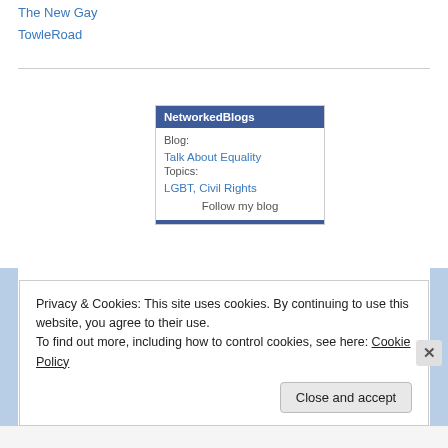The New Gay
TowleRoad
[Figure (other): NetworkedBlogs widget showing Blog: Talk About Equality, Topics: LGBT, Civil Rights, with Follow my blog button]
Privacy & Cookies: This site uses cookies. By continuing to use this website, you agree to their use.
To find out more, including how to control cookies, see here: Cookie Policy
Close and accept